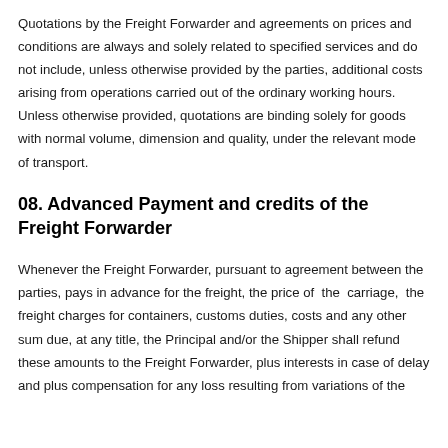Quotations by the Freight Forwarder and agreements on prices and conditions are always and solely related to specified services and do not include, unless otherwise provided by the parties, additional costs arising from operations carried out of the ordinary working hours. Unless otherwise provided, quotations are binding solely for goods with normal volume, dimension and quality, under the relevant mode of transport.
08. Advanced Payment and credits of the Freight Forwarder
Whenever the Freight Forwarder, pursuant to agreement between the parties, pays in advance for the freight, the price of the carriage, the freight charges for containers, customs duties, costs and any other sum due, at any title, the Principal and/or the Shipper shall refund these amounts to the Freight Forwarder, plus interests in case of delay and plus compensation for any loss resulting from variations of the